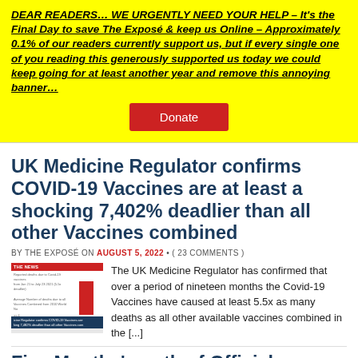DEAR READERS… WE URGENTLY NEED YOUR HELP – It's the Final Day to save The Exposé & keep us Online – Approximately 0.1% of our readers currently support us, but if every single one of you reading this generously supported us today we could keep going for at least another year and remove this annoying banner…
[Figure (other): Red Donate button on yellow background]
UK Medicine Regulator confirms COVID-19 Vaccines are at least a shocking 7,402% deadlier than all other Vaccines combined
BY THE EXPOSÉ ON AUGUST 5, 2022 • ( 23 COMMENTS )
[Figure (other): Thumbnail image showing a bar chart with a red bar and text overlay about UK Medicine Regulator and COVID-19 Vaccines]
The UK Medicine Regulator has confirmed that over a period of nineteen months the Covid-19 Vaccines have caused at least 5.5x as many deaths as all other available vaccines combined in the [...]
Five Months' worth of Official Government Data